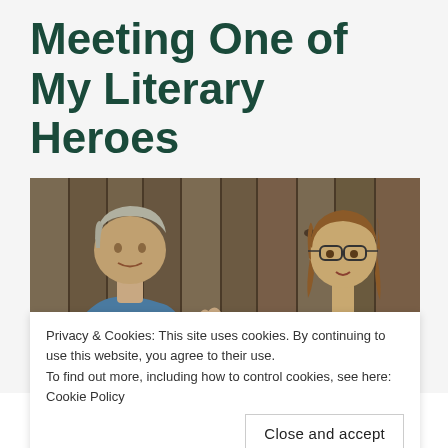Meeting One of My Literary Heroes
[Figure (photo): Two people talking in front of a wooden fence. On the left, a man with grey hair wearing a blue shirt gestures with his hand. On the right, a woman with glasses wearing a yellow top and a beaded necklace.]
Privacy & Cookies: This site uses cookies. By continuing to use this website, you agree to their use.
To find out more, including how to control cookies, see here: Cookie Policy
Close and accept
one of my literary heroes, Bruce Holsinger,